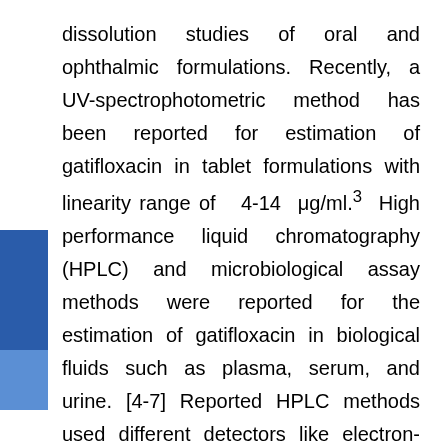dissolution studies of oral and ophthalmic formulations. Recently, a UV-spectrophotometric method has been reported for estimation of gatifloxacin in tablet formulations with linearity range of 4-14 μg/ml.3 High performance liquid chromatography (HPLC) and microbiological assay methods were reported for the estimation of gatifloxacin in biological fluids such as plasma, serum, and urine. [4-7] Reported HPLC methods used different detectors like electron-spray tandem mass spectrometry, ultraviolet and fluorescence. Overholser et al., have developed and validated a HPLC method for the estimation of gatifloxacin in human serum and urine samples. [8] But, chromatographic techniques demand a lot of time